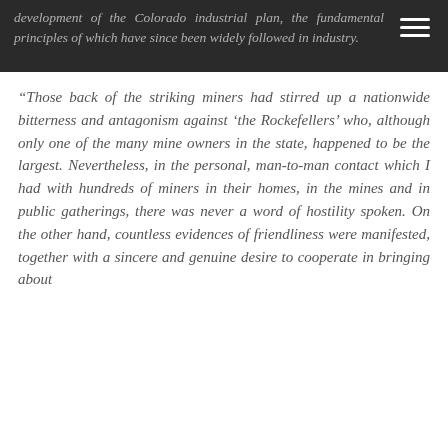development of the Colorado industrial plan, the fundamental principles of which have since been widely followed in industry.
“Those back of the striking miners had stirred up a nationwide bitterness and antagonism against ‘the Rockefellers’ who, although only one of the many mine owners in the state, happened to be the largest. Nevertheless, in the personal, man-to-man contact which I had with hundreds of miners in their homes, in the mines and in public gatherings, there was never a word of hostility spoken. On the other hand, countless evidences of friendliness were manifested, together with a sincere and genuine desire to cooperate in bringing about